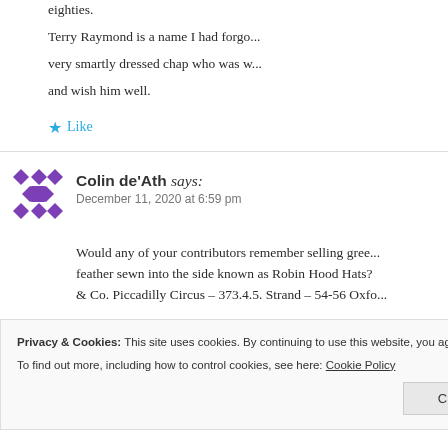eighties. Terry Raymond is a name I had forgotten — a very smartly dressed chap who was w... and wish him well.
Like
Colin de'Ath says: December 11, 2020 at 6:59 pm
Would any of your contributors remember selling gree... feather sewn into the side known as Robin Hood Hats? & Co. Piccadilly Circus – 373.4.5. Strand – 54-56 Oxfo...
Privacy & Cookies: This site uses cookies. By continuing to use this website, you agree to their use. To find out more, including how to control cookies, see here: Cookie Policy
Close and accept